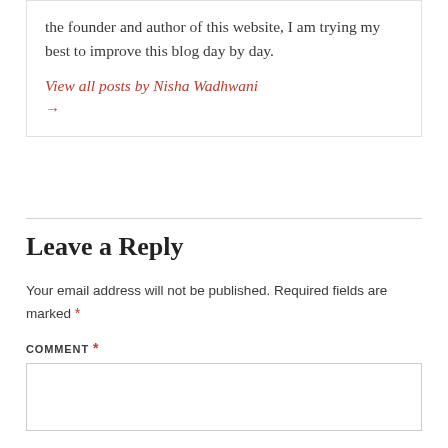the founder and author of this website, I am trying my best to improve this blog day by day.
View all posts by Nisha Wadhwani →
Leave a Reply
Your email address will not be published. Required fields are marked *
COMMENT *